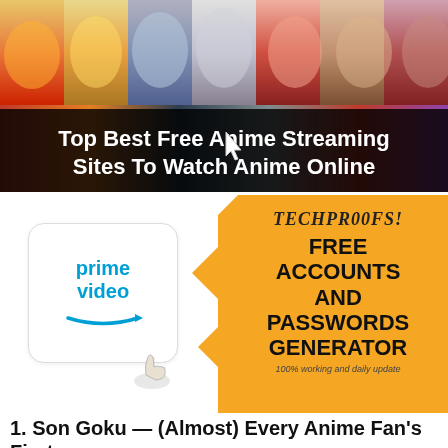[Figure (illustration): Banner image showing anime characters with dark overlay containing title text about free anime streaming sites]
Top Best Free Anime Streaming Sites To Watch Anime Online
[Figure (illustration): Amazon Prime Video logo in white rounded box on left and TechProofs yellow card on right reading: TECHPROOFS! FREE ACCOUNTS AND PASSWORDS GENERATOR 100% working and daily update]
1. Son Goku — (Almost) Every Anime Fan's First